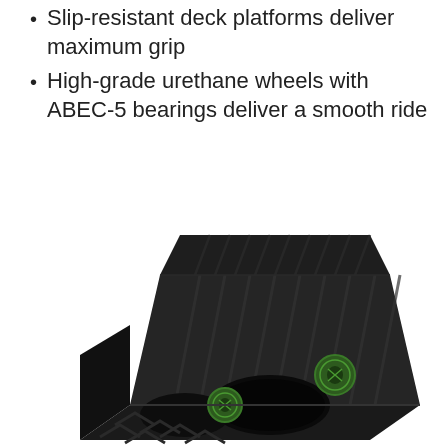Slip-resistant deck platforms deliver maximum grip
High-grade urethane wheels with ABEC-5 bearings deliver a smooth ride
[Figure (illustration): 3D rendered image of a black skateboard ramp/fingerboard obstacle with dark textured deck surface featuring diagonal stripe pattern, two green circular logo badges on the side, viewed from an angled perspective. The product appears to be a fingerboard ramp with a quarter-pipe style shape.]